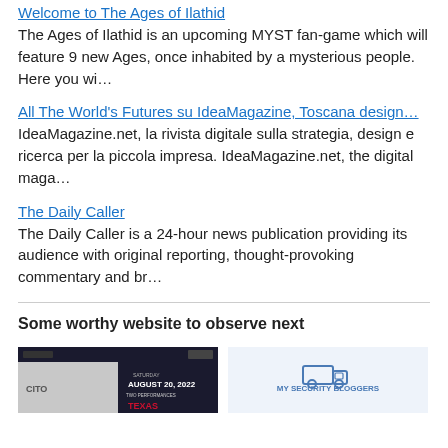Welcome to The Ages of Ilathid
The Ages of Ilathid is an upcoming MYST fan-game which will feature 9 new Ages, once inhabited by a mysterious people. Here you wi…
All The World's Futures su IdeaMagazine, Toscana design…
IdeaMagazine.net, la rivista digitale sulla strategia, design e ricerca per la piccola impresa. IdeaMagazine.net, the digital maga…
The Daily Caller
The Daily Caller is a 24-hour news publication providing its audience with original reporting, thought-provoking commentary and br…
Some worthy website to observe next
[Figure (screenshot): Screenshot of a Texas event page showing AUGUST 20, 2022 date with dark background]
[Figure (logo): Security bloggers logo on light blue background with a delivery truck icon]